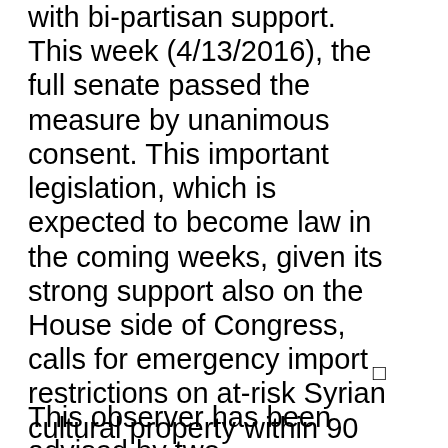with bi-partisan support. This week (4/13/2016), the full senate passed the measure by unanimous consent. This important legislation, which is expected to become law in the coming weeks, given its strong support also on the House side of Congress, calls for emergency import restrictions on at-risk Syrian cultural property within 90 days of President Obama's signature. Rather than establishing a rather controversial cultural heritage czar called for in an earlier version, H.R. 1493 now calls for an interagency executive committee to protect international cultural property.
This observer has been advised by two Congressional sources that concerns for the restoration of our shared global cultural heritage in Syria, widespread relief that Palmyra has been liberated from ISIS iconoclasm, and American public support